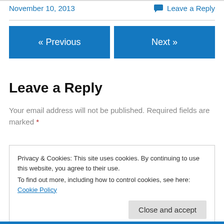November 10, 2013
Leave a Reply
« Previous    Next »
Leave a Reply
Your email address will not be published. Required fields are marked *
Privacy & Cookies: This site uses cookies. By continuing to use this website, you agree to their use.
To find out more, including how to control cookies, see here: Cookie Policy
Close and accept